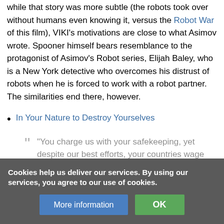while that story was more subtle (the robots took over without humans even knowing it, versus the Robot War of this film), VIKI's motivations are close to what Asimov wrote. Spooner himself bears resemblance to the protagonist of Asimov's Robot series, Elijah Baley, who is a New York detective who overcomes his distrust of robots when he is forced to work with a robot partner. The similarities end there, however.
In Your Nature to Destroy Yourselves
"You charge us with your safekeeping, yet despite our best efforts, your countries wage wars, you toxify your Earth and pursue ever more imaginative means of self-destruction. You cannot be trusted...
Cookies help us deliver our services. By using our services, you agree to our use of cookies.